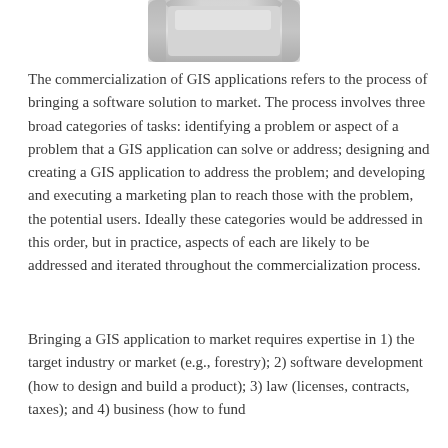[Figure (illustration): Partial illustration of a GIS-related software or device graphic (grey/silver colored object), cropped at the top of the page]
The commercialization of GIS applications refers to the process of bringing a software solution to market. The process involves three broad categories of tasks: identifying a problem or aspect of a problem that a GIS application can solve or address; designing and creating a GIS application to address the problem; and developing and executing a marketing plan to reach those with the problem, the potential users. Ideally these categories would be addressed in this order, but in practice, aspects of each are likely to be addressed and iterated throughout the commercialization process.
Bringing a GIS application to market requires expertise in 1) the target industry or market (e.g., forestry); 2) software development (how to design and build a product); 3) law (licenses, contracts, taxes); and 4) business (how to fund